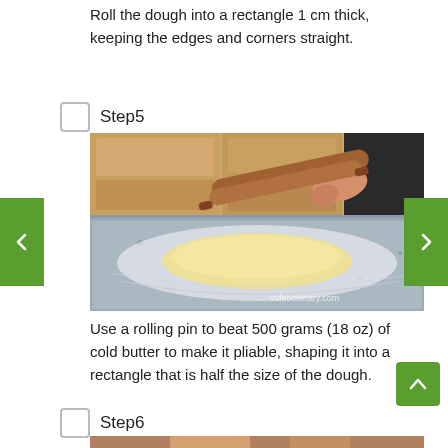Roll the dough into a rectangle 1 cm thick, keeping the edges and corners straight.
Step5
[Figure (photo): Person using a rolling pin to flatten dough on a plastic-wrapped surface on a granite countertop. Wooden cabinets visible in background. Watermark: videocuinary.com]
Use a rolling pin to beat 500 grams (18 oz) of cold butter to make it pliable, shaping it into a rectangle that is half the size of the dough.
Step6